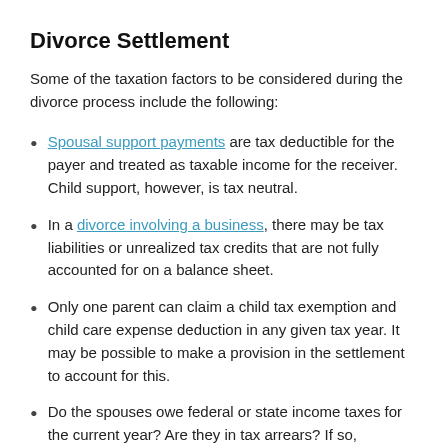Divorce Settlement
Some of the taxation factors to be considered during the divorce process include the following:
Spousal support payments are tax deductible for the payer and treated as taxable income for the receiver. Child support, however, is tax neutral.
In a divorce involving a business, there may be tax liabilities or unrealized tax credits that are not fully accounted for on a balance sheet.
Only one parent can claim a child tax exemption and child care expense deduction in any given tax year. It may be possible to make a provision in the settlement to account for this.
Do the spouses owe federal or state income taxes for the current year? Are they in tax arrears? If so, provision must be made in the property settlement and a provision in property settlement...